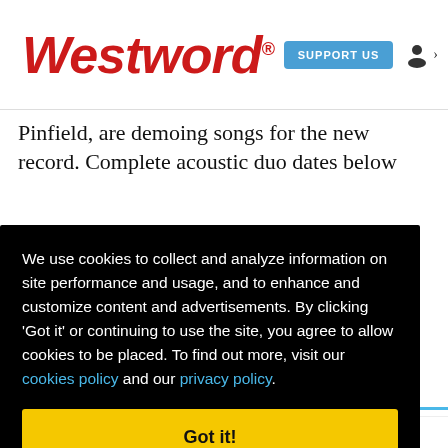Westword — SUPPORT US
Pinfield, are demoing songs for the new record. Complete acoustic duo dates below
We use cookies to collect and analyze information on site performance and usage, and to enhance and customize content and advertisements. By clicking 'Got it' or continuing to use the site, you agree to allow cookies to be placed. To find out more, visit our cookies policy and our privacy policy.
Got it!
nglish w NE nto,
KEEP WESTWORD FREE... Since we started